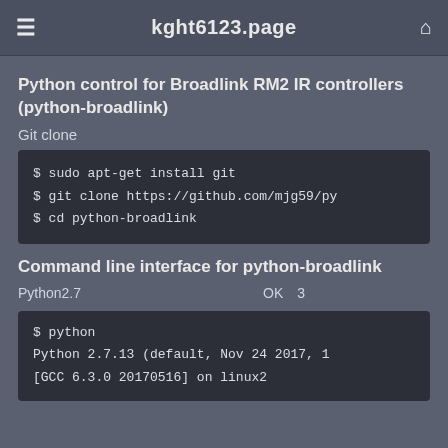kght6123.page
Python control for Broadlink RM2 IR controllers (python-broadlink)
Git clone
$ sudo apt-get install git
$ git clone https://github.com/mjg59/py
$ cd python-broadlink
Command line interface for python-broadlink
Python2.7　　　　　　　　　　　　　OK　3
$ python
Python 2.7.13 (default, Nov 24 2017, 1
[GCC 6.3.0 20170516] on linux2